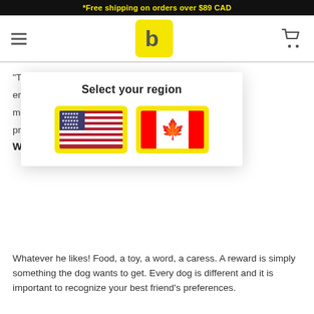*Free shipping on orders over $89 CAD
[Figure (logo): Website logo: yellow square with dark letter 'b' inside, hamburger menu icon on left, shopping cart icon on right]
“Treats,” “food,” “sweets,” we often use food rew... en... et me... pro...
[Figure (infographic): Modal dialog: 'Select your region' with two flag buttons - US flag and Canadian flag, both on yellow backgrounds]
Wh...
Whatever he likes! Food, a toy, a word, a caress. A reward is simply something the dog wants to get. Every dog is different and it is important to recognize your best friend’s preferences.